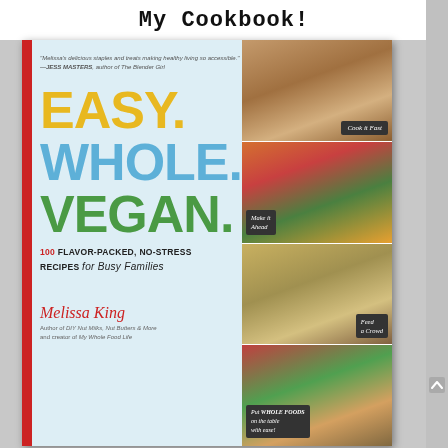My Cookbook!
[Figure (photo): Book cover of 'Easy. Whole. Vegan.' by Melissa King. Light blue background with large bold title text in yellow, blue, and green. Right side features four food photos with labels: Cook it Fast, Make it Ahead, Feed a Crowd, Put Whole Foods on the table with ease! Red spine bar on left edge.]
"Melissa's delicious staples and treats making healthy living so accessible." —JESS MASTERS, author of The Blender Girl
EASY. WHOLE. VEGAN.
100 FLAVOR-PACKED, NO-STRESS RECIPES for Busy Families
Melissa King
Author of DIY Nut Milks, Nut Butters & More and creator of My Whole Food Life